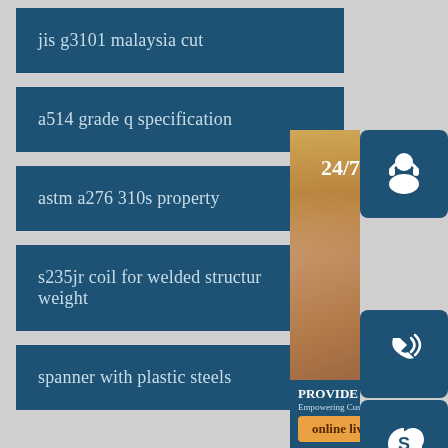jis g3101 malaysia cut
a514 grade q specification
astm a276 310s property
s235jr coil for welded structure weight
spanner with plastic steels
[Figure (photo): Customer service representative with headset, with 24/7 support widget overlay including headset icon, phone icon, Skype icon, and online live button]